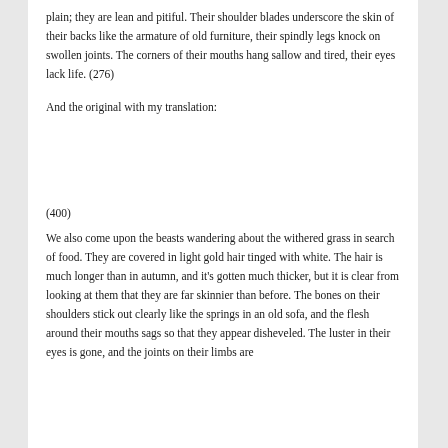plain; they are lean and pitiful. Their shoulder blades underscore the skin of their backs like the armature of old furniture, their spindly legs knock on swollen joints. The corners of their mouths hang sallow and tired, their eyes lack life. (276)
And the original with my translation:
[Japanese text — four lines of Japanese characters, with the last portion of the fourth line highlighted in red] (400)
We also come upon the beasts wandering about the withered grass in search of food. They are covered in light gold hair tinged with white. The hair is much longer than in autumn, and it's gotten much thicker, but it is clear from looking at them that they are far skinnier than before. The bones on their shoulders stick out clearly like the springs in an old sofa, and the flesh around their mouths sags so that they appear disheveled. The luster in their eyes is gone, and the joints on their limbs are